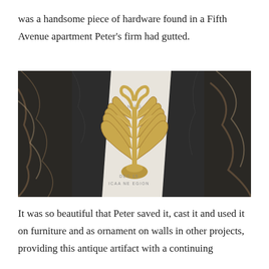was a handsome piece of hardware found in a Fifth Avenue apartment Peter's firm had gutted.
[Figure (photo): A decorative golden acanthus leaf hardware ornament placed on a marble surface with a paper/card beneath it showing partial text 'STANDARDS' and 'DECEMBER 2015 ICAA NE REGION'.]
It was so beautiful that Peter saved it, cast it and used it on furniture and as ornament on walls in other projects, providing this antique artifact with a continuing